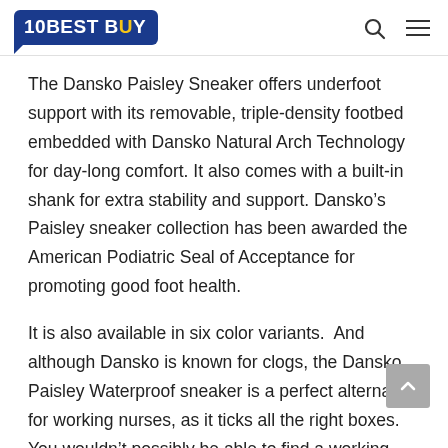10BEST BUY
The Dansko Paisley Sneaker offers underfoot support with its removable, triple-density footbed embedded with Dansko Natural Arch Technology for day-long comfort. It also comes with a built-in shank for extra stability and support. Dansko’s Paisley sneaker collection has been awarded the American Podiatric Seal of Acceptance for promoting good foot health.
It is also available in six color variants.  And although Dansko is known for clogs, the Dansko Paisley Waterproof sneaker is a perfect alternative for working nurses, as it ticks all the right boxes. You wouldn’t possibly be able to find a working shoe that